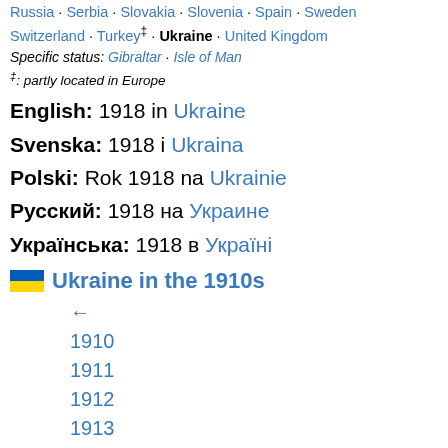Russia · Serbia · Slovakia · Slovenia · Spain · Sweden · Switzerland · Turkey‡ · Ukraine · United Kingdom
Specific status: Gibraltar · Isle of Man
‡: partly located in Europe
English: 1918 in Ukraine
Svenska: 1918 i Ukraina
Polski: Rok 1918 na Ukrainie
Русский: 1918 на Украине
Українська: 1918 в Україні
🇺🇦 Ukraine in the 1910s
←
1910
1911
1912
1913
1914
1915
1916
1917